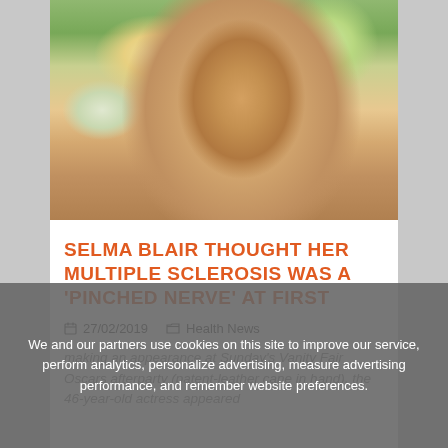[Figure (photo): A smiling blonde woman at an event with floral arrangements in the background, wearing a green dress and jeweled earrings.]
SELMA BLAIR THOUGHT HER MULTIPLE SCLEROSIS WAS A 'PINCHED NERVE' AT FIRST
27/02/2019   Health News
making an appearance at Sunday's Vanity Fair Oscars afterparty (patent-leather cane in hand), the 46-year-old actress appeared
We and our partners use cookies on this site to improve our service, perform analytics, personalize advertising, measure advertising performance, and remember website preferences.